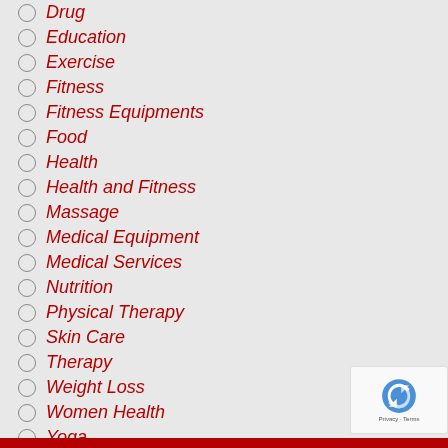Drug
Education
Exercise
Fitness
Fitness Equipments
Food
Health
Health and Fitness
Massage
Medical Equipment
Medical Services
Nutrition
Physical Therapy
Skin Care
Therapy
Weight Loss
Women Health
Yoga